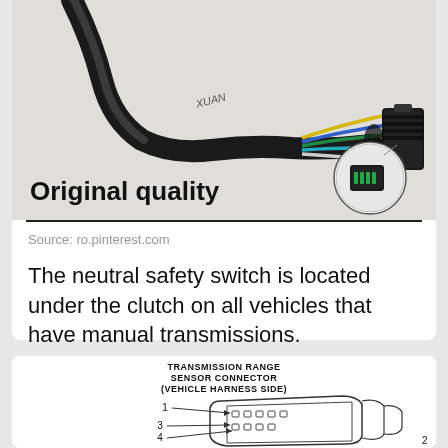[Figure (photo): Photo of a neutral safety switch/wiring harness connector with colored wires (yellow, blue, green) and a black multi-pin connector. Text 'XUAN' on the cable. A magnified inset shows the green connector pins. Bold text 'Original quality' overlaid at the bottom left.]
Source: ro.pinterest.com
The neutral safety switch is located under the clutch on all vehicles that have manual transmissions.
[Figure (engineering-diagram): Engineering line diagram of a Transmission Range Sensor Connector (Vehicle Harness Side) with numbered pins 1, 3, 4, and a partial view of the connector body with wiring detail.]